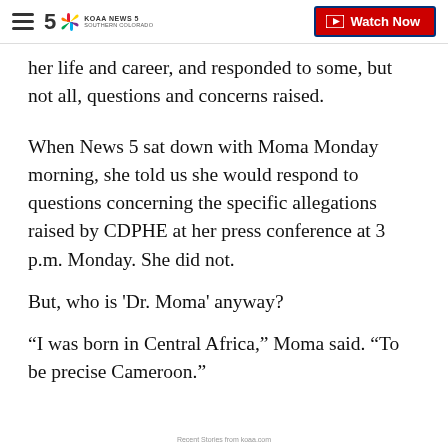KOAA News 5 Southern Colorado — Watch Now
her life and career, and responded to some, but not all, questions and concerns raised.
When News 5 sat down with Moma Monday morning, she told us she would respond to questions concerning the specific allegations raised by CDPHE at her press conference at 3 p.m. Monday. She did not.
But, who is 'Dr. Moma' anyway?
“I was born in Central Africa,” Moma said. “To be precise Cameroon.”
Recent Stories from koaa.com